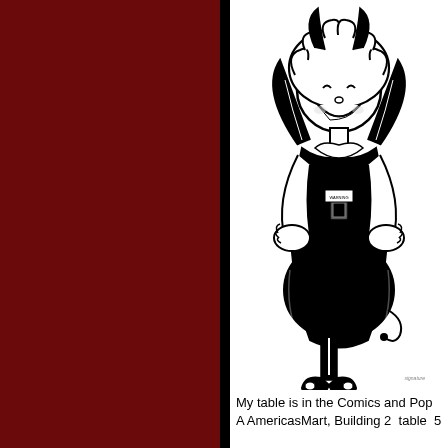[Figure (illustration): Black and white cartoon illustration of a cheerful female devil/demon character with horns, wings, curly hair, hands on hips, wearing a black outfit, standing on cloven hooves, smiling broadly.]
My table is in the Comics and Pop A AmericasMart, Building 2 table 5